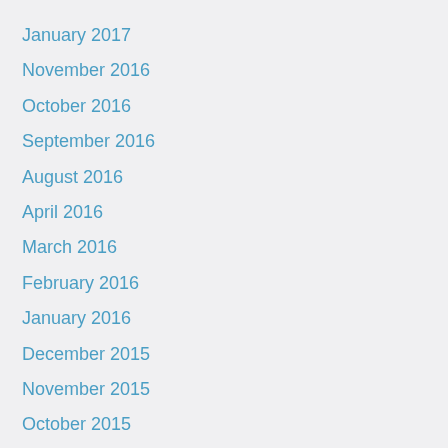January 2017
November 2016
October 2016
September 2016
August 2016
April 2016
March 2016
February 2016
January 2016
December 2015
November 2015
October 2015
September 2015
August 2015
April 2015